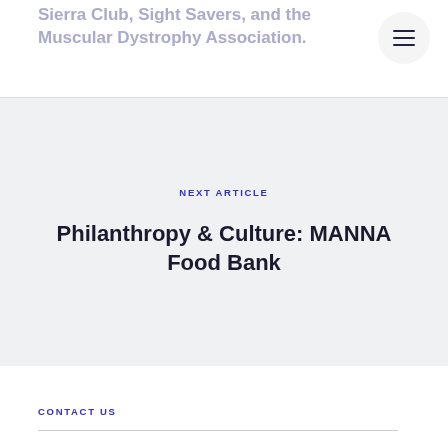Sierra Club, Sight Savers, and the Muscular Dystrophy Association.
NEXT ARTICLE
Philanthropy & Culture: MANNA Food Bank
CONTACT US